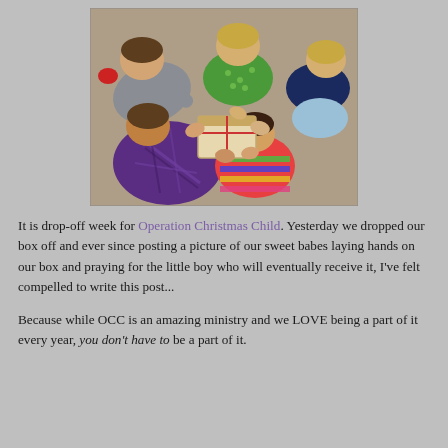[Figure (photo): Overhead/bird's-eye view photo of several children huddled together on the ground, laying hands on a shoebox and praying. Children wearing colorful shirts including purple plaid, green polka dot, and striped. Photographed from above on a concrete/pavement surface.]
It is drop-off week for Operation Christmas Child. Yesterday we dropped our box off and ever since posting a picture of our sweet babes laying hands on our box and praying for the little boy who will eventually receive it, I've felt compelled to write this post...
Because while OCC is an amazing ministry and we LOVE being a part of it every year, you don't have to be a part of it.